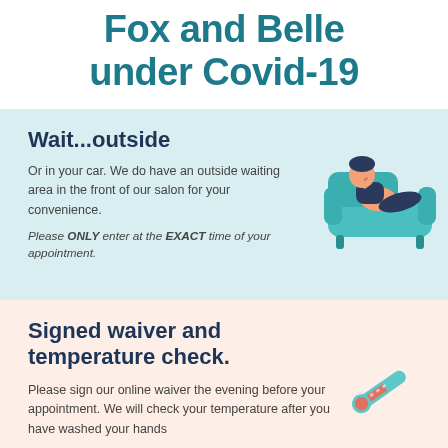Fox and Belle under Covid-19
Wait...outside
Or in your car. We do have an outside waiting area in the front of our salon for your convenience.
Please ONLY enter at the EXACT time of your appointment.
[Figure (illustration): Illustration of a person relaxing on a teal sofa]
Signed waiver and temperature check.
Please sign our online waiver the evening before your appointment. We will check your temperature after you have washed your hands
[Figure (illustration): Illustration of a thermometer]